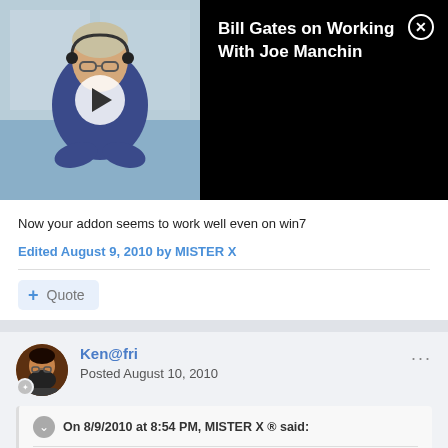[Figure (screenshot): Video thumbnail showing a person wearing glasses and headset, with a play button overlay. Video title: Bill Gates on Working With Joe Manchin. Black info panel on right with close button.]
Now your addon seems to work well even on win7
Edited August 9, 2010 by MISTER X
+ Quote
Ken@fri
Posted August 10, 2010
On 8/9/2010 at 8:54 PM, MISTER X ® said:
removing lines as :